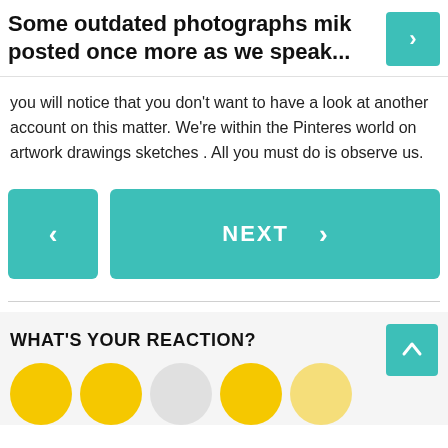Some outdated photographs mik posted once more as we speak...
you will notice that you don't want to have a look at another account on this matter. We're within the Pinteres world on artwork drawings sketches . All you must do is observe us.
WHAT'S YOUR REACTION?